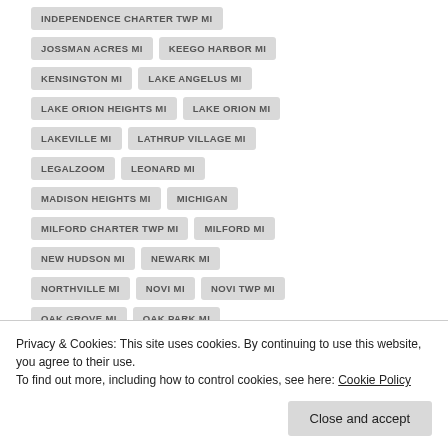INDEPENDENCE CHARTER TWP MI
JOSSMAN ACRES MI
KEEGO HARBOR MI
KENSINGTON MI
LAKE ANGELUS MI
LAKE ORION HEIGHTS MI
LAKE ORION MI
LAKEVILLE MI
LATHRUP VILLAGE MI
LEGALZOOM
LEONARD MI
MADISON HEIGHTS MI
MICHIGAN
MILFORD CHARTER TWP MI
MILFORD MI
NEW HUDSON MI
NEWARK MI
NORTHVILLE MI
NOVI MI
NOVI TWP MI
OAK GROVE MI
OAK PARK MI
Privacy & Cookies: This site uses cookies. By continuing to use this website, you agree to their use.
To find out more, including how to control cookies, see here: Cookie Policy
Close and accept